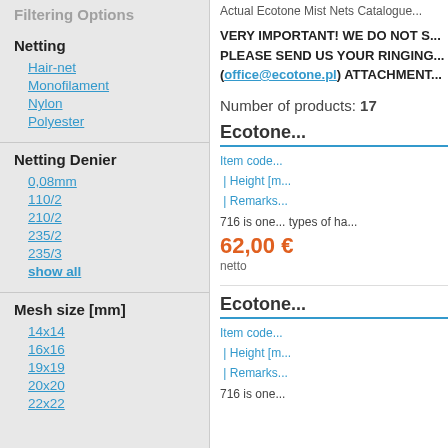Filtering Options
Netting
Hair-net
Monofilament
Nylon
Polyester
Netting Denier
0,08mm
110/2
210/2
235/2
235/3
show all
Mesh size [mm]
14x14
16x16
19x19
20x20
22x22
Actual Ecotone Mist Nets Catalogue...
VERY IMPORTANT! WE DO NOT S... PLEASE SEND US YOUR RINGING... (office@ecotone.pl) ATTACHMENT...
Number of products: 17
Ecotone...
Item code... | Height [m... | Remarks...
716 is one... types of ha...
62,00 €
netto
Ecotone...
Item code... | Height [m... | Remarks...
716 is one...